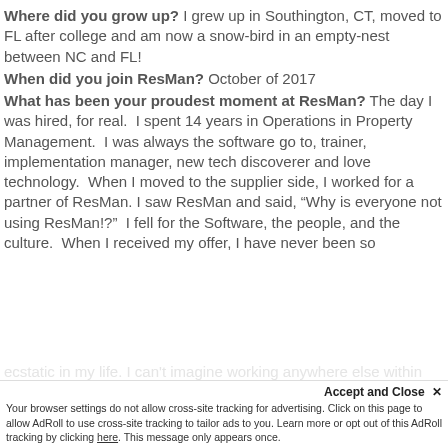Where did you grow up? I grew up in Southington, CT, moved to FL after college and am now a snow-bird in an empty-nest between NC and FL!
When did you join ResMan? October of 2017
What has been your proudest moment at ResMan? The day I was hired, for real. I spent 14 years in Operations in Property Management. I was always the software go to, trainer, implementation manager, new tech discoverer and love technology. When I moved to the supplier side, I worked for a partner of ResMan. I saw ResMan and said, “Why is everyone not using ResMan!?” I fell for the Software, the people, and the culture. When I received my offer, I have never been so...
Accept and Close × Your browser settings do not allow cross-site tracking for advertising. Click on this page to allow AdRoll to use cross-site tracking to tailor ads to you. Learn more or opt out of this AdRoll tracking by clicking here. This message only appears once.